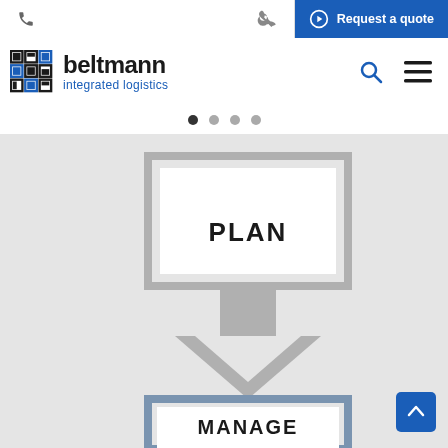Request a quote
[Figure (logo): Beltmann Integrated Logistics logo with grid icon]
[Figure (flowchart): Flowchart showing PLAN box connected by downward arrow to MANAGE box]